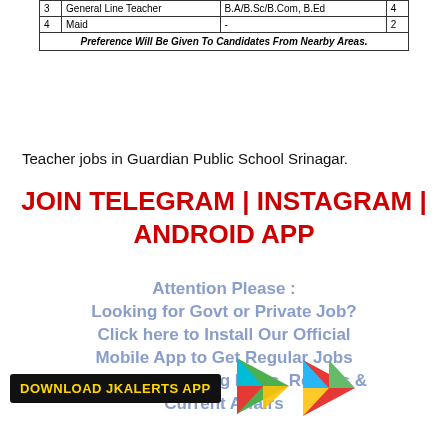| S.No | Post | Qualification | Posts |
| --- | --- | --- | --- |
| 3 | General Line Teacher | B.A/B.Sc/B.Com, B.Ed | 4 |
| 4 | Maid | - | 2 |
Teacher jobs in Guardian Public School Srinagar.
JOIN TELEGRAM | INSTAGRAM | ANDROID APP
Attention Please : Looking for Govt or Private Job? Click here to Install Our Official Mobile App to Get Regular Jobs Updates, Breaking News, Results & Current Affairs
[Figure (logo): DOWNLOAD JKALERTS APP badge with Google Play icon]